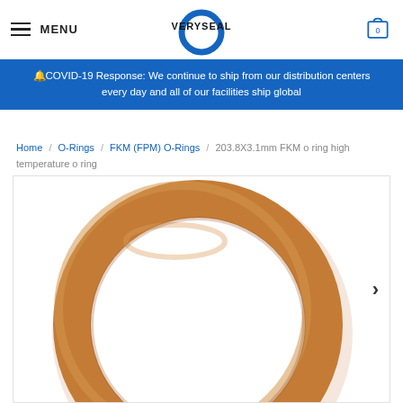MENU | VERYSEAL | 0
🔔COVID-19 Response: We continue to ship from our distribution centers every day and all of our facilities ship global
Home / O-Rings / FKM (FPM) O-Rings / 203.8X3.1mm FKM o ring high temperature o ring
[Figure (photo): Brown FKM o-ring (203.8X3.1mm) shown from above on white background, circular torus shape with brownish-tan color]